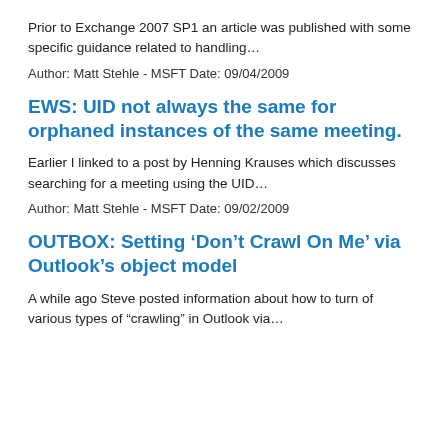Prior to Exchange 2007 SP1 an article was published with some specific guidance related to handling…
Author: Matt Stehle - MSFT Date: 09/04/2009
EWS: UID not always the same for orphaned instances of the same meeting.
Earlier I linked to a post by Henning Krauses which discusses searching for a meeting using the UID…
Author: Matt Stehle - MSFT Date: 09/02/2009
OUTBOX: Setting ‘Don’t Crawl On Me’ via Outlook’s object model
A while ago Steve posted information about how to turn of various types of “crawling” in Outlook via…